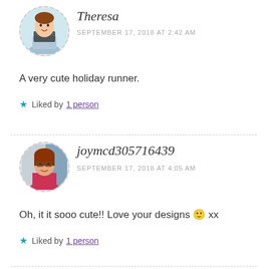[Figure (illustration): Avatar of Theresa — cartoon illustration of a woman at a laptop, circular dashed border]
Theresa
SEPTEMBER 17, 2018 AT 2:42 AM
A very cute holiday runner.
Liked by 1 person
[Figure (photo): Avatar photo of joymcd305716439 — woman with glasses, circular dashed border]
joymcd305716439
SEPTEMBER 17, 2018 AT 4:05 AM
Oh, it it sooo cute!! Love your designs 🙂 xx
Liked by 1 person